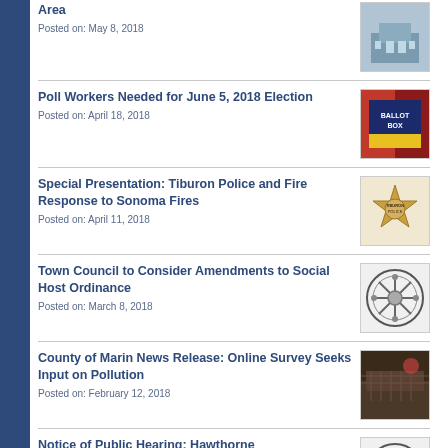Area
Posted on: May 8, 2018
Poll Workers Needed for June 5, 2018 Election
Posted on: April 18, 2018
Special Presentation: Tiburon Police and Fire Response to Sonoma Fires
Posted on: April 11, 2018
Town Council to Consider Amendments to Social Host Ordinance
Posted on: March 8, 2018
County of Marin News Release: Online Survey Seeks Input on Pollution
Posted on: February 12, 2018
Notice of Public Hearing: Hawthorne Undergrounding District and Tabluation of